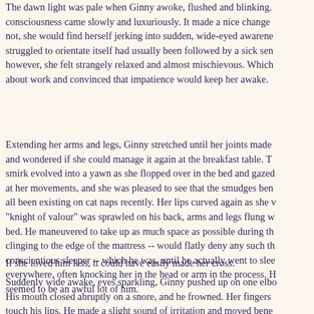The dawn light was pale when Ginny awoke, flushed and blinking. consciousness came slowly and luxuriously. It made a nice change not, she would find herself jerking into sudden, wide-eyed awarene struggled to orientate itself had usually been followed by a sick sen however, she felt strangely relaxed and almost mischievous. Which about work and convinced that impatience would keep her awake.
Extending her arms and legs, Ginny stretched until her joints made and wondered if she could manage it again at the breakfast table. T smirk evolved into a yawn as she flopped over in the bed and gazed at her movements, and she was pleased to see that the smudges ben all been existing on cat naps recently. Her lips curved again as she "knight of valour" was sprawled on his back, arms and legs flung w bed. He maneuvered to take up as much space as possible during th clinging to the edge of the mattress -- would flatly deny any such th conscientious sleeper -- which he was, until he actually went to slee everywhere, often knocking her in the head or arm in the process. R seemed to be an awful lot of him.
If she loved him less, it could have easily made her cross.
Suddenly wide awake, eyes sparkling, Ginny pushed up on one elb His mouth closed abruptly on a snore, and he frowned. Her fingers touch his lips. He made a slight sound of irritation and moved bene forward and pressed her closed mouth to his. Harry stiffened mome fingers cupping the back of her head.